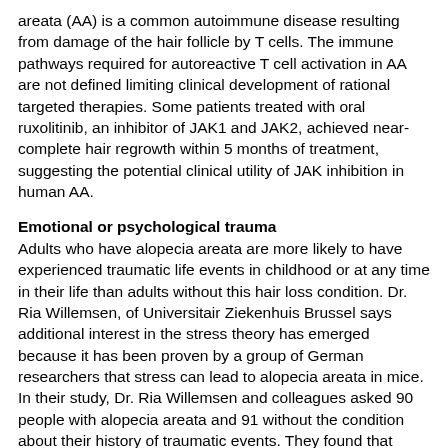areata (AA) is a common autoimmune disease resulting from damage of the hair follicle by T cells. The immune pathways required for autoreactive T cell activation in AA are not defined limiting clinical development of rational targeted therapies. Some patients treated with oral ruxolitinib, an inhibitor of JAK1 and JAK2, achieved near-complete hair regrowth within 5 months of treatment, suggesting the potential clinical utility of JAK inhibition in human AA.
Emotional or psychological trauma
Adults who have alopecia areata are more likely to have experienced traumatic life events in childhood or at any time in their life than adults without this hair loss condition. Dr. Ria Willemsen, of Universitair Ziekenhuis Brussel says additional interest in the stress theory has emerged because it has been proven by a group of German researchers that stress can lead to alopecia areata in mice. In their study, Dr. Ria Willemsen and colleagues asked 90 people with alopecia areata and 91 without the condition about their history of traumatic events. They found that significantly more alopecia patients than control subjects reported at least one lifetime traumatic event (87 percent vs 73 percent). In addition, significantly more alopecia patients (42 percent) than controls (25 percent) reported experiencing at least one traumatic event in childhood, especially emotional neglect